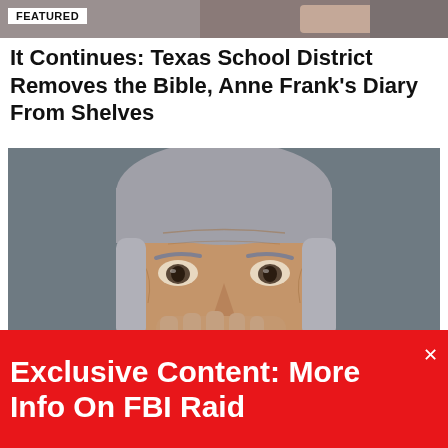FEATURED
It Continues: Texas School District Removes the Bible, Anne Frank's Diary From Shelves
[Figure (photo): Close-up photo of a middle-aged man with gray hair, resting his hand near his mouth, looking serious. A 'FEATURED' label appears in the lower left corner of the image.]
Joe Manchin's Latest Comments About the
Exclusive Content: More Info On FBI Raid